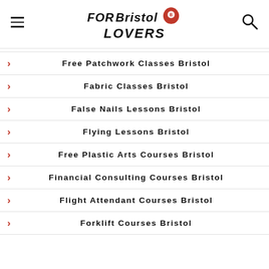FOR Bristol LOVERS
Free Patchwork Classes Bristol
Fabric Classes Bristol
False Nails Lessons Bristol
Flying Lessons Bristol
Free Plastic Arts Courses Bristol
Financial Consulting Courses Bristol
Flight Attendant Courses Bristol
Forklift Courses Bristol